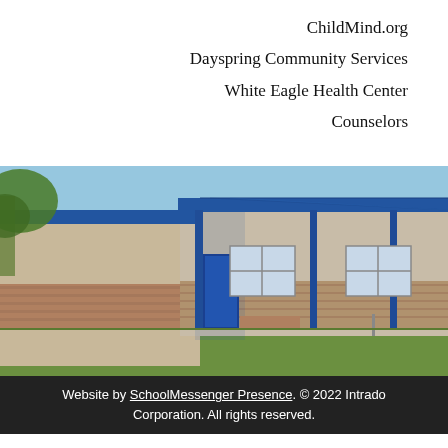ChildMind.org
Dayspring Community Services
White Eagle Health Center
Counselors
[Figure (photo): Exterior photo of a school building with blue metal roof, brick and tan siding, blue support columns, and green lawn in front, under a clear blue sky with trees visible at left.]
Website by SchoolMessenger Presence. © 2022 Intrado Corporation. All rights reserved.